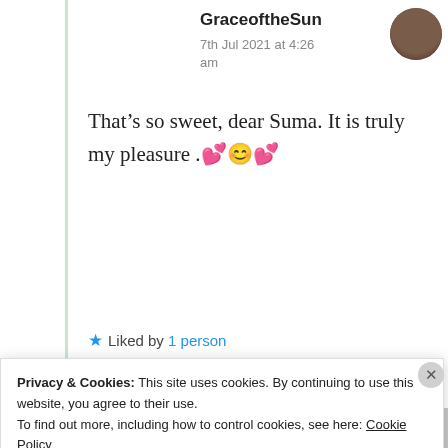GraceoftheSun
7th Jul 2021 at 4:26 am
That’s so sweet, dear Suma. It is truly my pleasure .💕😊💕
★ Liked by 1 person
Advertisements
[Figure (screenshot): DayOne 'Your Journal for life' advertisement banner with phone mockup on blue background]
REPORT THIS AD
Privacy & Cookies: This site uses cookies. By continuing to use this website, you agree to their use.
To find out more, including how to control cookies, see here: Cookie Policy
Close and accept